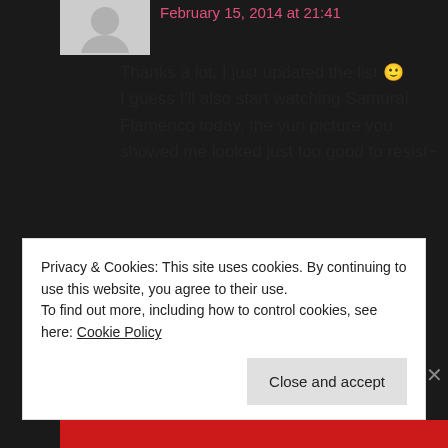February 15, 2014 at 21:41
Thanks a lot, I just updated the list 🙂 I guess I'll also start watching Samurai Flamenco today, the yuri picture you showed me looked just too good to resist~
★ Like
Reply
Privacy & Cookies: This site uses cookies. By continuing to use this website, you agree to their use.
To find out more, including how to control cookies, see here: Cookie Policy
Close and accept